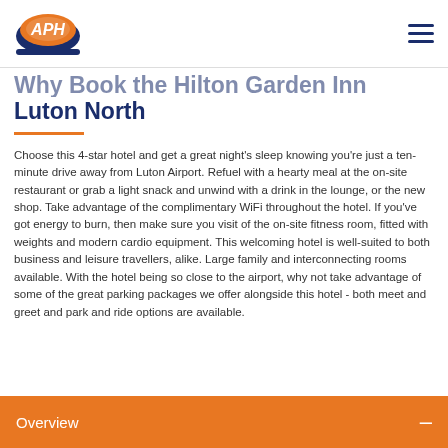APH logo and navigation menu
Why Book the Hilton Garden Inn Luton North
Choose this 4-star hotel and get a great night's sleep knowing you're just a ten-minute drive away from Luton Airport. Refuel with a hearty meal at the on-site restaurant or grab a light snack and unwind with a drink in the lounge, or the new shop. Take advantage of the complimentary WiFi throughout the hotel. If you've got energy to burn, then make sure you visit of the on-site fitness room, fitted with weights and modern cardio equipment. This welcoming hotel is well-suited to both business and leisure travellers, alike. Large family and interconnecting rooms available. With the hotel being so close to the airport, why not take advantage of some of the great parking packages we offer alongside this hotel - both meet and greet and park and ride options are available.
Overview –